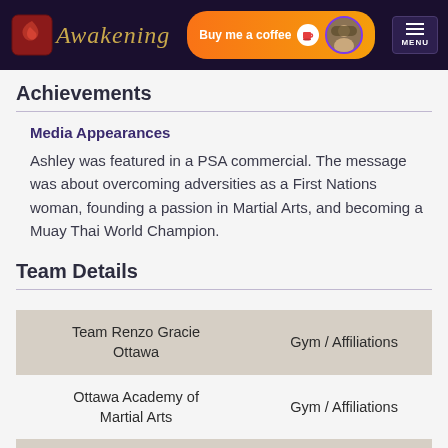Awakening — Buy me a coffee — MENU
Achievements
Media Appearances
Ashley was featured in a PSA commercial. The message was about overcoming adversities as a First Nations woman, founding a passion in Martial Arts, and becoming a Muay Thai World Champion.
Team Details
|  | Gym / Affiliations |
| --- | --- |
| Team Renzo Gracie Ottawa | Gym / Affiliations |
| Ottawa Academy of Martial Arts | Gym / Affiliations |
| MAS Academy of Martial |  |